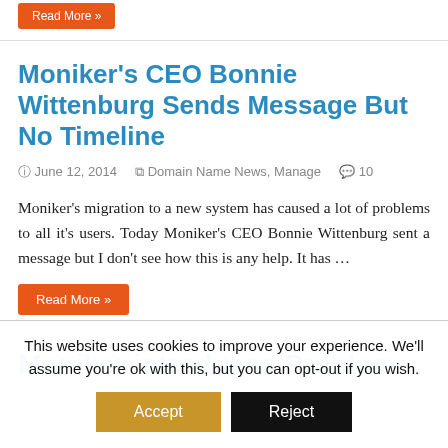[Figure (other): Orange 'Read More »' button at top of page]
Moniker's CEO Bonnie Wittenburg Sends Message But No Timeline
June 12, 2014  Domain Name News, Manage  10
Moniker's migration to a new system has caused a lot of problems to all it's users. Today Moniker's CEO Bonnie Wittenburg sent a message but I don't see how this is any help. It has …
[Figure (other): Orange 'Read More »' button]
Moniker introduces Probla…
This website uses cookies to improve your experience. We'll assume you're ok with this, but you can opt-out if you wish.